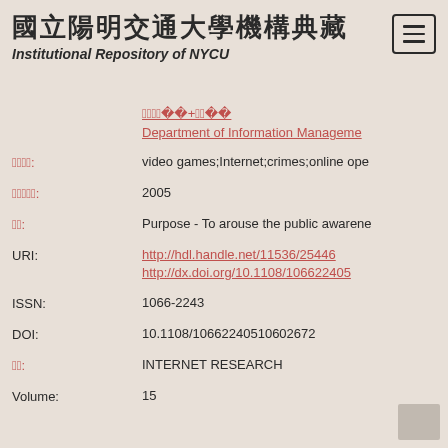國立陽明交通大學機構典藏 Institutional Repository of NYCU
院系所: 資訊管理與財務金融學系+資訊管理
Department of Information Management
關鍵字: video games;Internet;crimes;online ope
出版年: 2005
摘要: Purpose - To arouse the public awarene
URI: http://hdl.handle.net/11536/25446
http://dx.doi.org/10.1108/106622405
ISSN: 1066-2243
DOI: 10.1108/10662240510602672
期刊: INTERNET RESEARCH
Volume: 15